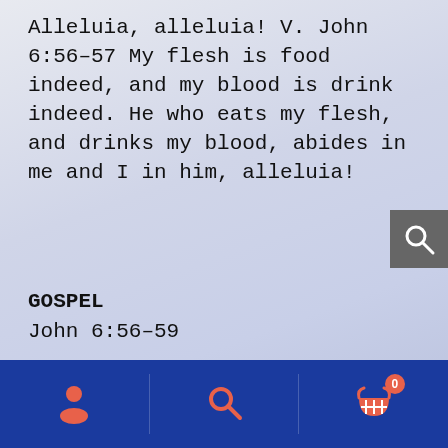Alleluia, alleluia! V. John 6:56-57 My flesh is food indeed, and my blood is drink indeed. He who eats my flesh, and drinks my blood, abides in me and I in him, alleluia!
GOSPEL
John 6:56-59
At that time, Jesus said to the crowds of the Jews: “For my flesh is meat indeed: and my blood is drink indeed. He that eateth my flesh and drinketh my blood abideth in me: and I in him. As the living Father hath sent me and I live by the Father: so he that eateth me, the same also shall live by me. This is the bread that came down from heaven. Not as
navigation bar with person, search, and cart icons